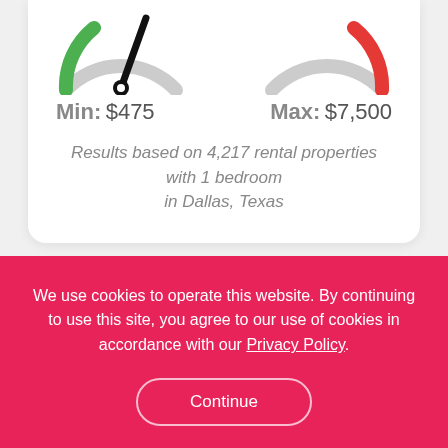[Figure (other): Gauge/speedometer partial view showing needle pointing left (green arc) on left side and red arc on right side]
Min: $475
Max: $7,500
Results based on 4,217 rental properties with 1 bedroom in Dallas, Texas
Schedule a Viewing
We use cookies to operate this website. By continuing to use this site, you agree to our use of cookies in accordance with our Privacy Policy.
Continue